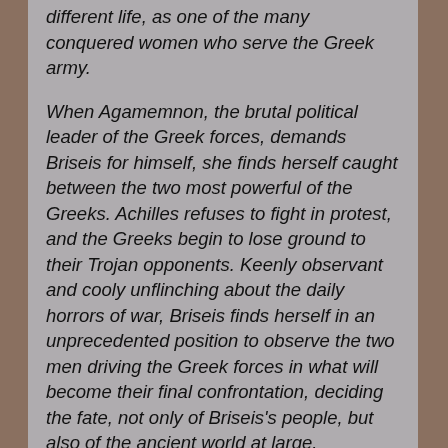different life, as one of the many conquered women who serve the Greek army.
When Agamemnon, the brutal political leader of the Greek forces, demands Briseis for himself, she finds herself caught between the two most powerful of the Greeks. Achilles refuses to fight in protest, and the Greeks begin to lose ground to their Trojan opponents. Keenly observant and cooly unflinching about the daily horrors of war, Briseis finds herself in an unprecedented position to observe the two men driving the Greek forces in what will become their final confrontation, deciding the fate, not only of Briseis's people, but also of the ancient world at large.
Briseis is just one among thousands of women living behind the scenes in this war--the slaves and prostitutes, the nurses, the women who lay out the dead--all of them erased by history. With breathtaking historical detail and luminous prose, Pat Barker brings the teeming world of the Greek camp